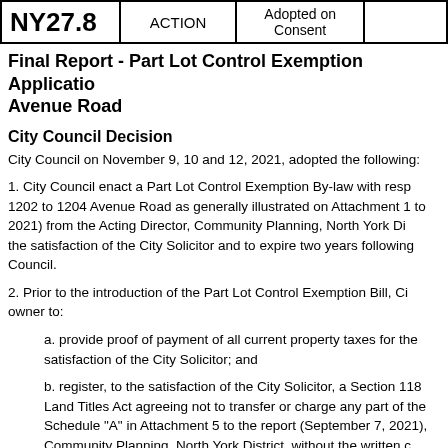| NY27.8 | ACTION | Adopted on Consent |  |
| --- | --- | --- | --- |
Final Report - Part Lot Control Exemption Application - Avenue Road
City Council Decision
City Council on November 9, 10 and 12, 2021, adopted the following:
1. City Council enact a Part Lot Control Exemption By-law with respect to 1202 to 1204 Avenue Road as generally illustrated on Attachment 1 to (2021) from the Acting Director, Community Planning, North York District, to the satisfaction of the City Solicitor and to expire two years following Council.
2. Prior to the introduction of the Part Lot Control Exemption Bill, City owner to:
a. provide proof of payment of all current property taxes for the satisfaction of the City Solicitor; and
b. register, to the satisfaction of the City Solicitor, a Section 118 Land Titles Act agreeing not to transfer or charge any part of the Schedule "A" in Attachment 5 to the report (September 7, 2021), Community Planning, North York District, without the written consent